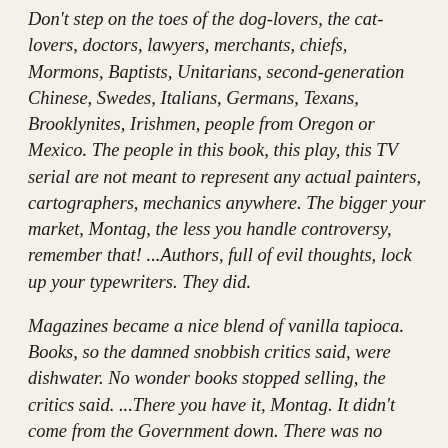Don't step on the toes of the dog-lovers, the cat-lovers, doctors, lawyers, merchants, chiefs, Mormons, Baptists, Unitarians, second-generation Chinese, Swedes, Italians, Germans, Texans, Brooklynites, Irishmen, people from Oregon or Mexico. The people in this book, this play, this TV serial are not meant to represent any actual painters, cartographers, mechanics anywhere. The bigger your market, Montag, the less you handle controversy, remember that! ...Authors, full of evil thoughts, lock up your typewriters. They did.
Magazines became a nice blend of vanilla tapioca. Books, so the damned snobbish critics said, were dishwater. No wonder books stopped selling, the critics said. ...There you have it, Montag. It didn't come from the Government down. There was no dictum, no declaration, no censorship, to start with, no! Technology, mass exploitation, and minority pressure carried the trick, thank God. Today, thanks to them, you can stay happy all the time, you are allowed to read comics, the good old confessions, or trade-journals.